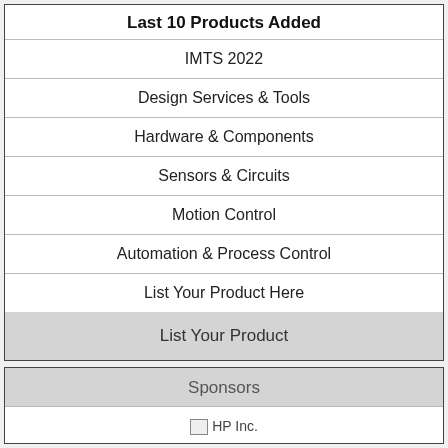Last 10 Products Added
IMTS 2022
Design Services & Tools
Hardware & Components
Sensors & Circuits
Motion Control
Automation & Process Control
List Your Product Here
List Your Product
Sponsors
HP Inc.